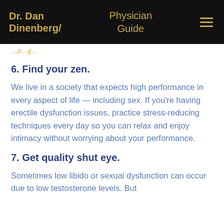Dr. Dan Dinenberg/ | Physician Guide
…p…g…
6. Find your zen.
We live in a society that expects high performance in every aspect of life — including sex. If you're having erectile dysfunction issues, practice stress-reducing techniques every day so you can relax and enjoy intimacy without worrying about your performance.
7. Get quality shut eye.
Sometimes low libido or sexual dysfunction can occur due to low testosterone levels. But